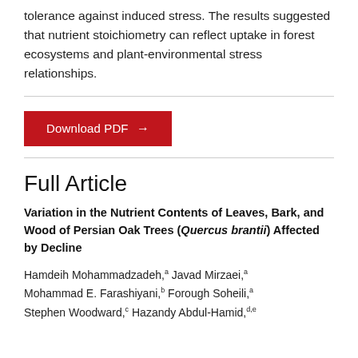tolerance against induced stress. The results suggested that nutrient stoichiometry can reflect uptake in forest ecosystems and plant-environmental stress relationships.
[Figure (other): Download PDF button (red background with white text and arrow)]
Full Article
Variation in the Nutrient Contents of Leaves, Bark, and Wood of Persian Oak Trees (Quercus brantii) Affected by Decline
Hamdeih Mohammadzadeh,a Javad Mirzaei,a Mohammad E. Farashiyani,b Forough Soheili,a Stephen Woodward,c Hazandy Abdul-Hamid,d,e